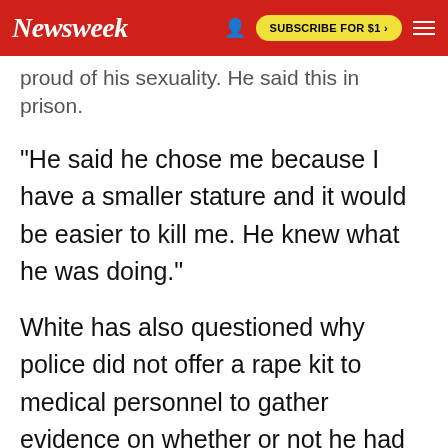Newsweek | SUBSCRIBE FOR $1 >
proud of his sexuality. He said this in prison.
"He said he chose me because I have a smaller stature and it would be easier to kill me. He knew what he was doing."
White has also questioned why police did not offer a rape kit to medical personnel to gather evidence on whether or not he had been sexually assaulted.